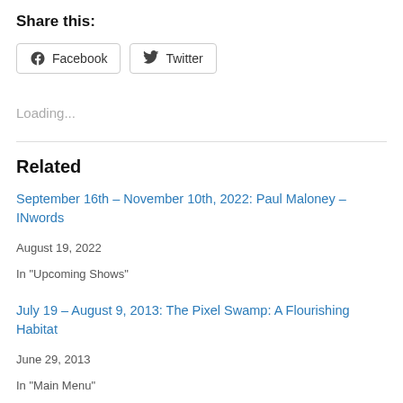Share this:
Facebook  Twitter
Loading...
Related
September 16th – November 10th, 2022: Paul Maloney – INwords
August 19, 2022
In "Upcoming Shows"
July 19 – August 9, 2013: The Pixel Swamp: A Flourishing Habitat
June 29, 2013
In "Main Menu"
May 20th – July 7th, 2022: desmosome
May 1, 2022